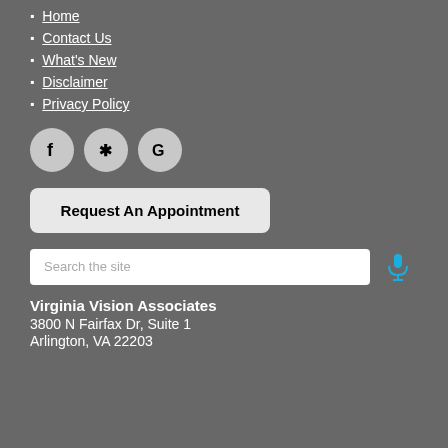Home
Contact Us
What's New
Disclaimer
Privacy Policy
[Figure (illustration): Three social media icon circles: Facebook (f), Yelp (asterisk/star), Google (G)]
Request An Appointment
Search the site
Virginia Vision Associates
3800 N Fairfax Dr, Suite 1
Arlington, VA 22203